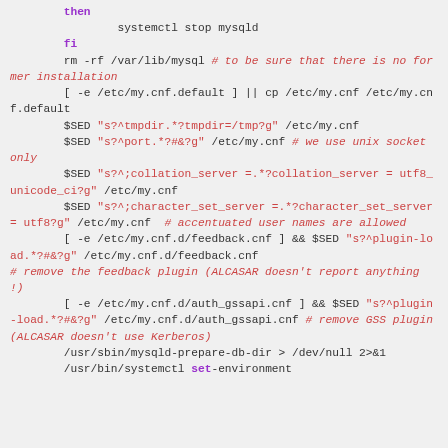Shell script code block showing MySQL installation steps including systemctl stop mysqld, fi, rm -rf /var/lib/mysql, sed commands for my.cnf configuration, and systemctl set-environment commands.